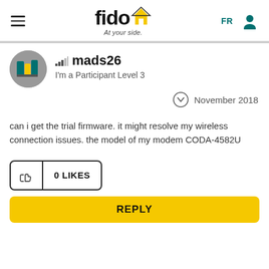[Figure (logo): Fido logo with house icon and tagline 'At your side.']
mads26
I'm a Participant Level 3
November 2018
can i get the trial firmware. it might resolve my wireless connection issues. the model of my modem CODA-4582U
0 LIKES
REPLY